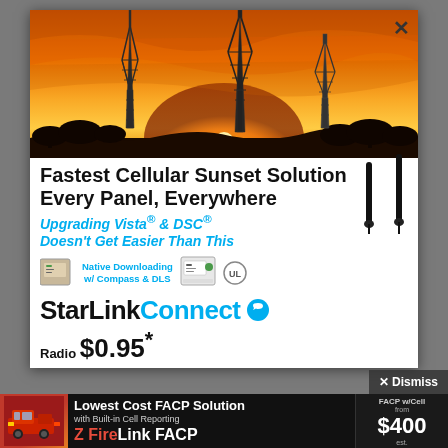[Figure (photo): Sunset/sunrise sky with orange and golden hues, silhouettes of three communication/cell towers and trees in the foreground]
Fastest Cellular Sunset Solution Every Panel, Everywhere
Upgrading Vista® & DSC® Doesn't Get Easier Than This
Native Downloading w/ Compass & DLS
[Figure (logo): StarLinkConnect logo with chat bubble icon and StarLink device]
Radio $0.95*
X Dismiss
[Figure (infographic): Bottom banner ad: Lowest Cost FACP Solution with Built-in Cell Reporting — FireLink FACP — FACP w/Cell from $400]
Lowest Cost FACP Solution with Built-in Cell Reporting FireLink FACP FACP w/Cell from $400